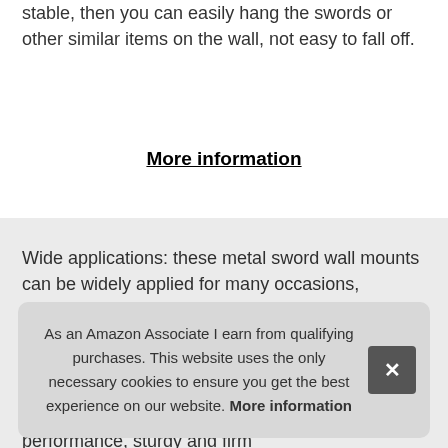stable, then you can easily hang the swords or other similar items on the wall, not easy to fall off.
More information
Wide applications: these metal sword wall mounts can be widely applied for many occasions, shopping mall, office and so on, such as home, company, exhibition, good choice for holding swords and other long handle items. Sturdy and durable: these wall sword display hooks are made of quality metal material with good abrasion performance, sturdy and firm that
As an Amazon Associate I earn from qualifying purchases. This website uses the only necessary cookies to ensure you get the best experience on our website. More information